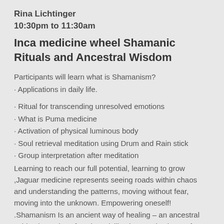Rina Lichtinger
10:30pm to 11:30am
Inca medicine wheel Shamanic Rituals and Ancestral Wisdom
Participants will learn what is Shamanism?
· Applications in daily life.
· Ritual for transcending unresolved emotions
· What is Puma medicine
· Activation of physical luminous body
· Soul retrieval meditation using Drum and Rain stick
· Group interpretation after meditation
Learning to reach our full potential, learning to grow ,Jaguar medicine represents seeing roads within chaos and understanding the patterns, moving without fear, moving into the unknown. Empowering oneself! .Shamanism Is an ancient way of healing – an ancestral spiritual practice of ancient civilizations and cultures, for accessing and interacting with the